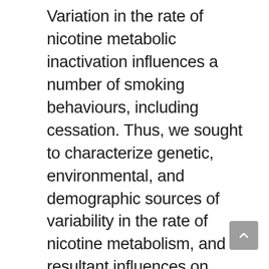Variation in the rate of nicotine metabolic inactivation influences a number of smoking behaviours, including cessation. Thus, we sought to characterize genetic, environmental, and demographic sources of variability in the rate of nicotine metabolism, and resultant influences on smoking behaviours. Variation in the activity of the major nicotine-metabolizing enzyme, cytochrome P450 2A6 (CYP2A6) changes nicotine clearance and is associated with altered smoking behaviours, including cessation, in adults. We demonstrate here that slow (versus normal) nicotine metabolizers are more likely to achieve prolonged abstinence in adolescence, as in adulthood. We further demonstrate that in clinical trials, adult slow (versus normal)